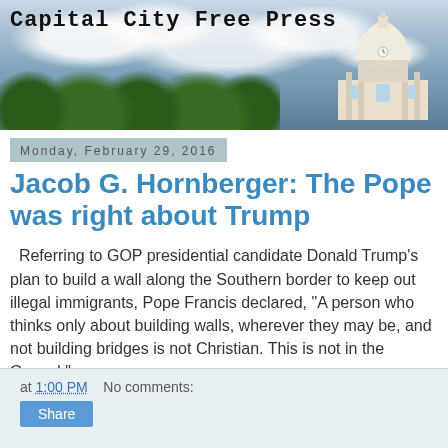Capital City Free Press
Monday, February 29, 2016
Jacob G. Hornberger: The Pope was right about Trump
Referring to GOP presidential candidate Donald Trump's plan to build a wall along the Southern border to keep out illegal immigrants, Pope Francis declared, “A person who thinks only about building walls, wherever they may be, and not building bridges is not Christian. This is not in the Gospel.”
at 1:00 PM   No comments:
Share